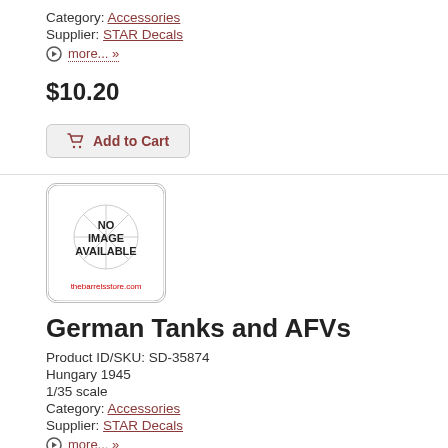Category: Accessories
Supplier: STAR Decals
more... »
$10.20
Add to Cart
[Figure (illustration): No image available placeholder with crosshair circle and thebarrelsstore.com text]
German Tanks and AFVs
Product ID/SKU: SD-35874
Hungary 1945
1/35 scale
Category: Accessories
Supplier: STAR Decals
more... »